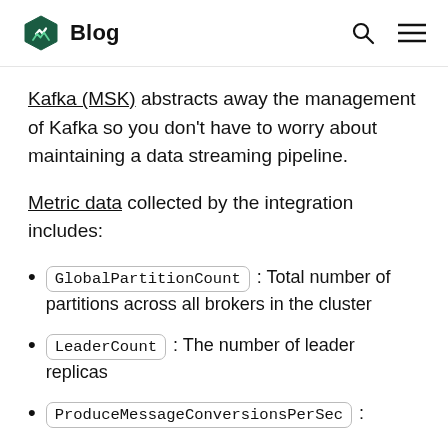Blog
Kafka (MSK) abstracts away the management of Kafka so you don't have to worry about maintaining a data streaming pipeline.
Metric data collected by the integration includes:
GlobalPartitionCount: Total number of partitions across all brokers in the cluster
LeaderCount: The number of leader replicas
ProduceMessageConversionsPerSec: